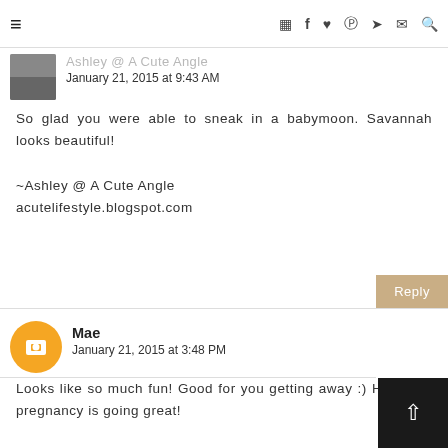Ashley @ A Cute Angle — navigation bar with icons
Ashley @ A Cute Angle
January 21, 2015 at 9:43 AM
So glad you were able to sneak in a babymoon. Savannah looks beautiful!

~Ashley @ A Cute Angle
acutelifestyle.blogspot.com
Mae
January 21, 2015 at 3:48 PM
Looks like so much fun! Good for you getting away :) Hope the pregnancy is going great!